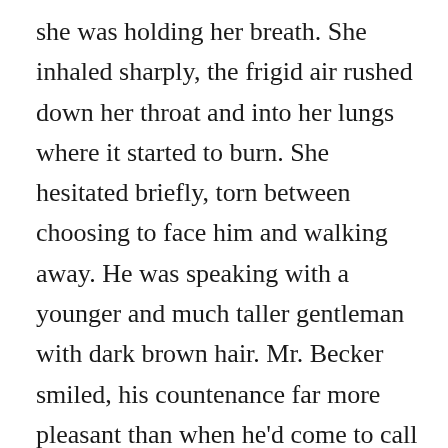she was holding her breath. She inhaled sharply, the frigid air rushed down her throat and into her lungs where it started to burn. She hesitated briefly, torn between choosing to face him and walking away. He was speaking with a younger and much taller gentleman with dark brown hair. Mr. Becker smiled, his countenance far more pleasant than when he'd come to call on her earlier. The younger gentleman nodded politely and offered his hand which Mr. Becker promptly shook before tipping his hat, adding a comment, and walking away. The younger man watched him go before turning toward the coachman. The two exchanged a few words, and the younger